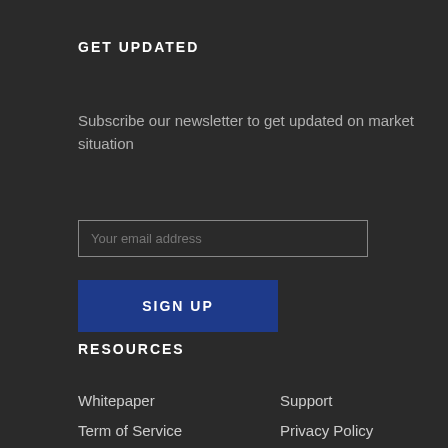GET UPDATED
Subscribe our newsletter to get updated on market situation
Your email address
SIGN UP
RESOURCES
Whitepaper
Support
Term of Service
Privacy Policy